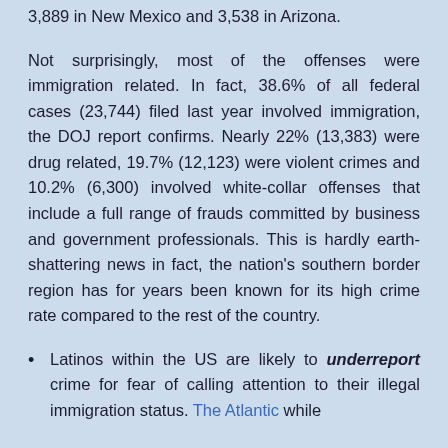3,889 in New Mexico and 3,538 in Arizona.
Not surprisingly, most of the offenses were immigration related. In fact, 38.6% of all federal cases (23,744) filed last year involved immigration, the DOJ report confirms. Nearly 22% (13,383) were drug related, 19.7% (12,123) were violent crimes and 10.2% (6,300) involved white-collar offenses that include a full range of frauds committed by business and government professionals. This is hardly earth-shattering news in fact, the nation's southern border region has for years been known for its high crime rate compared to the rest of the country.
Latinos within the US are likely to underreport crime for fear of calling attention to their illegal immigration status. The Atlantic while